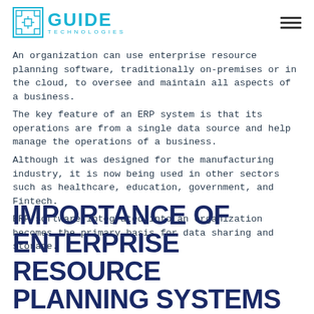GUIDE TECHNOLOGIES
An organization can use enterprise resource planning software, traditionally on-premises or in the cloud, to oversee and maintain all aspects of a business.
The key feature of an ERP system is that its operations are from a single data source and help manage the operations of a business.
Although it was designed for the manufacturing industry, it is now being used in other sectors such as healthcare, education, government, and Fintech.
ERP software integrated into an organization becomes the primary basis for data sharing and storage.
IMPORTANCE OF ENTERPRISE RESOURCE PLANNING SYSTEMS